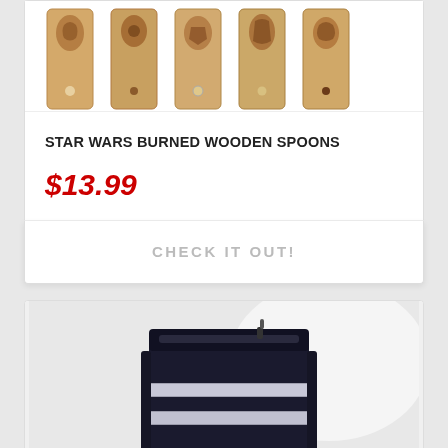[Figure (photo): Five wooden spoons with burned/pyrography Star Wars designs on the handles, displayed in a row at the top of a product card]
STAR WARS BURNED WOODEN SPOONS
$13.99
CHECK IT OUT!
[Figure (photo): A black tactical/military-style bag with two horizontal white reflective stripes, shown against a light background, partially visible at the bottom of the page]